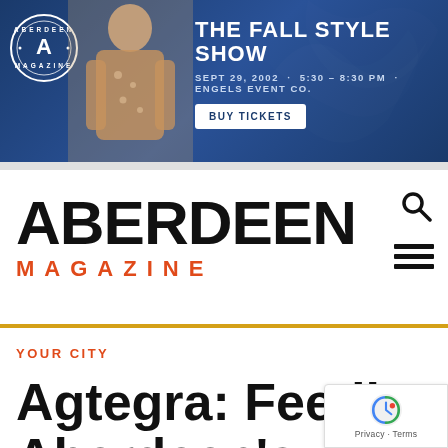[Figure (infographic): Aberdeen Magazine banner ad for The Fall Style Show. Dark navy blue background with floral pattern, woman in tan jacket, circular Aberdeen Magazine logo on left. Text: THE FALL STYLE SHOW, SEPT 29, 2002 · 5:30 – 8:30 PM · ENGELS EVENT CO. BUY TICKETS button.]
ABERDEEN MAGAZINE
YOUR CITY
Agtegra: Feeding Aberdeen's